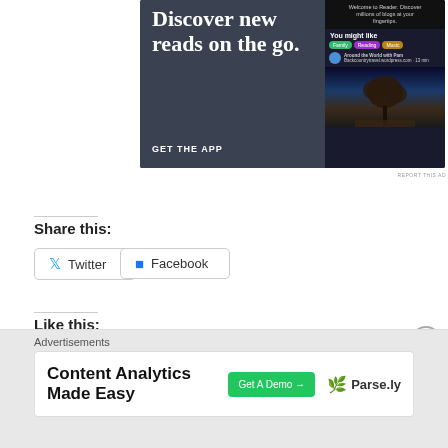[Figure (screenshot): Advertisement banner for a blog reader app. Left side dark blue-gray background with white serif text 'Discover new reads on the go.' and 'GET THE APP'. Right side shows a dark app UI with 'Welcome to Reader. Discover millions of blogs at your fingertips.', 'You might like' with colored tags (Family, Reading, Music), a blog entry 'Around the World with Pam', and a tree silhouette photo.]
REPORT THIS AD
Share this:
Twitter
Facebook
Like this:
Like
Advertisements
[Figure (screenshot): Ad for Parse.ly Content Analytics Made Easy with a green Get A Demo button and Parse.ly logo with leaf icon.]